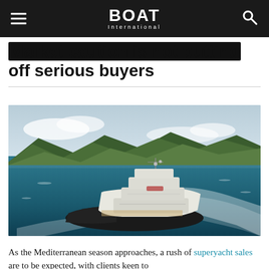BOAT International
Market caution is not putting off serious buyers
[Figure (photo): Aerial view of a large superyacht with dark hull and white superstructure cruising through turquoise and blue waters, with green forested mountains in the background. The yacht is leaving a white wake.]
As the Mediterranean season approaches, a rush of superyacht sales are to be expected, with clients keen to